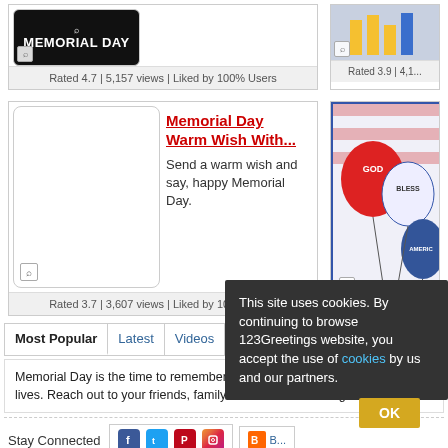[Figure (screenshot): Top row of greeting cards: left card shows Memorial Day banner image with zoom icon, right card shows partial image. Both have ratings below.]
Rated 4.7 | 5,157 views | Liked by 100% Users
Rated 3.9 | 4,1...
[Figure (screenshot): Second row: left card with blank white image placeholder and zoom icon; right card shows balloons image with God Bless America text.]
Memorial Day Warm Wish With...
Send a warm wish and say, happy Memorial Day.
Rated 3.7 | 3,607 views | Liked by 100% Users
Most Popular | Latest | Videos | Postcards | GIF Cards
Memorial Day is the time to remember and honor those who risked their lives. Reach out to your friends, family and loved ones... togetherness.
Stay Connected
[Figure (screenshot): Social media icons: Facebook, Twitter, Pinterest, Instagram, Blog icon with B]
Site Ma...
This site uses cookies. By continuing to browse 123Greetings website, you accept the use of cookies by us and our partners.
OK